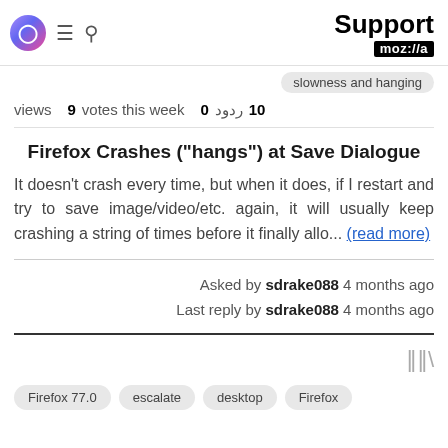Support moz://a
slowness and hanging
views 9   votes this week 0   ردود 10
Firefox Crashes ("hangs") at Save Dialogue
It doesn't crash every time, but when it does, if I restart and try to save image/video/etc. again, it will usually keep crashing a string of times before it finally allo... (read more)
Asked by sdrake088 4 months ago
Last reply by sdrake088 4 months ago
Firefox 77.0   escalate   desktop   Firefox